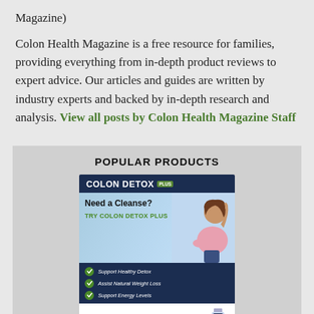Magazine)
Colon Health Magazine is a free resource for families, providing everything from in-depth product reviews to expert advice. Our articles and guides are written by industry experts and backed by in-depth research and analysis. View all posts by Colon Health Magazine Staff
POPULAR PRODUCTS
[Figure (advertisement): Colon Detox Plus advertisement showing a woman with arms raised, product benefits including Support Healthy Detox, Assist Natural Weight Loss, Support Energy Levels, and a Claim Free Bottle CTA button]